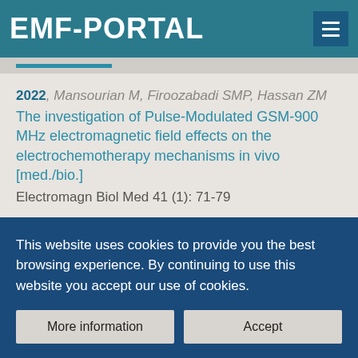EMF-PORTAL
2022, Mansourian M, Firoozabadi SMP, Hassan ZM
The investigation of Pulse-Modulated GSM-900 MHz electromagnetic field effects on the electrochemotherapy mechanisms in vivo [med./bio.]
Electromagn Biol Med 41 (1): 71-79
2021, Mansourian M, Firoozabadi SMP, Hassan ZM
The effect of 900 MHz electromagnetic fields on
This website uses cookies to provide you the best browsing experience. By continuing to use this website you accept our use of cookies.